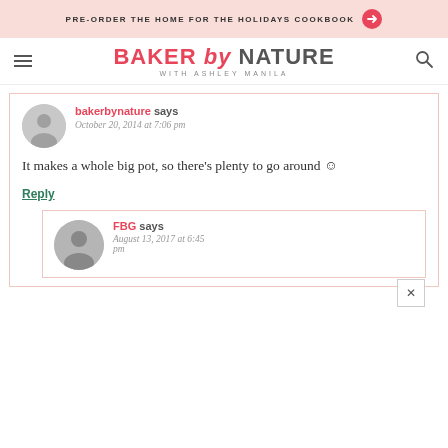PRE-ORDER THE HOME FOR THE HOLIDAYS COOKBOOK →
[Figure (logo): Baker by Nature with Ashley Manila logo with hamburger menu and search icon]
bakerbynature says
October 20, 2014 at 7:06 pm
It makes a whole big pot, so there's plenty to go around ☺
Reply
FBG says
August 13, 2017 at 6:45 pm